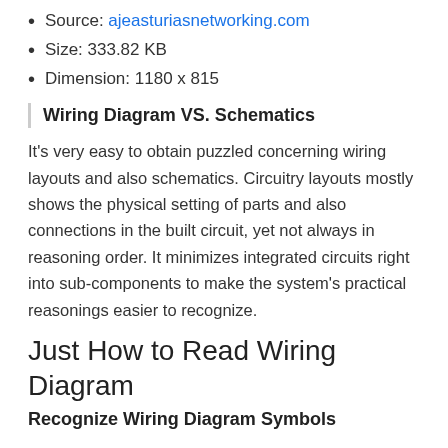Source: ajeasturiasnetworking.com
Size: 333.82 KB
Dimension: 1180 x 815
Wiring Diagram VS. Schematics
It's very easy to obtain puzzled concerning wiring layouts and also schematics. Circuitry layouts mostly shows the physical setting of parts and also connections in the built circuit, yet not always in reasoning order. It minimizes integrated circuits right into sub-components to make the system's practical reasonings easier to recognize.
Just How to Read Wiring Diagram
Recognize Wiring Diagram Symbols